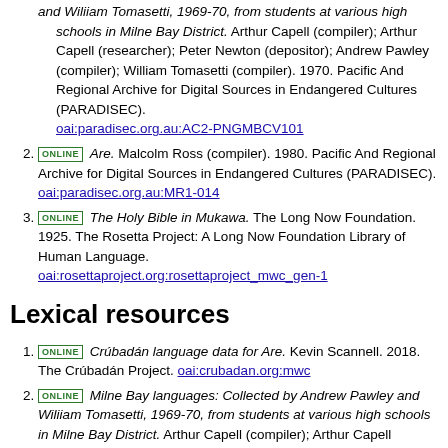[continuation] and Wiliiam Tomasetti, 1969-70, from students at various high schools in Milne Bay District. Arthur Capell (compiler); Arthur Capell (researcher); Peter Newton (depositor); Andrew Pawley (compiler); William Tomasetti (compiler). 1970. Pacific And Regional Archive for Digital Sources in Endangered Cultures (PARADISEC). oai:paradisec.org.au:AC2-PNGMBCV101
ONLINE Are. Malcolm Ross (compiler). 1980. Pacific And Regional Archive for Digital Sources in Endangered Cultures (PARADISEC). oai:paradisec.org.au:MR1-014
ONLINE The Holy Bible in Mukawa. The Long Now Foundation. 1925. The Rosetta Project: A Long Now Foundation Library of Human Language. oai:rosettaproject.org:rosettaproject_mwc_gen-1
Lexical resources
ONLINE Crúbadán language data for Are. Kevin Scannell. 2018. The Crúbadán Project. oai:crubadan.org:mwc
ONLINE Milne Bay languages: Collected by Andrew Pawley and Wiliiam Tomasetti, 1969-70, from students at various high schools in Milne Bay District. Arthur Capell (compiler); Arthur Capell (researcher); Peter Newton (depositor); Andrew Pawley (compiler); William Tomasetti (compiler). 1970. Pacific And Regional Archive for Digital Sources in Endangered Cultures (PARADISEC). oai:paradisec.org.au:AC2-PNGMBCV101